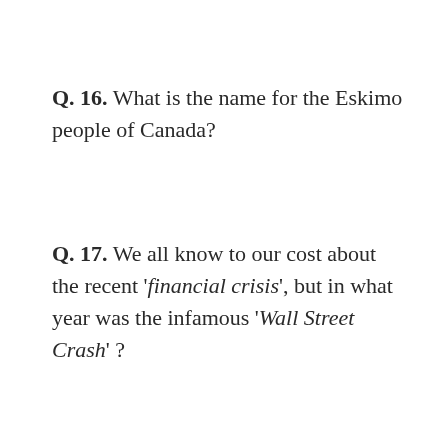Q. 16.  What is the name for the Eskimo people of Canada?
Q. 17.  We all know to our cost about the recent 'financial crisis', but in what year was the infamous 'Wall Street Crash' ?